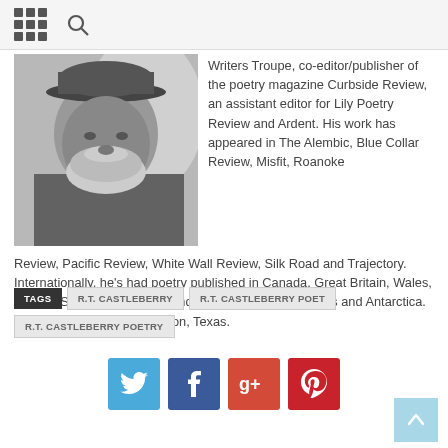Navigation header with grid menu and search icon
[Figure (photo): Black and white photograph of an older bearded man wearing a cap]
Writers Troupe, co-editor/publisher of the poetry magazine Curbside Review, an assistant editor for Lily Poetry Review and Ardent. His work has appeared in The Alembic, Blue Collar Review, Misfit, Roanoke Review, Pacific Review, White Wall Review, Silk Road and Trajectory. Internationally, he's had poetry published in Canada, Great Britain, Wales, Ireland, Scotland, New Zealand, Portugal, the Philippines and Antarctica. He lives and writes in Houston, Texas.
TAGS: R.T. CASTLEBERRY | R.T. CASTLEBERRY POET | R.T. CASTLEBERRY POETRY
[Figure (other): Social media share buttons: Twitter, Facebook, Google+, Pinterest]